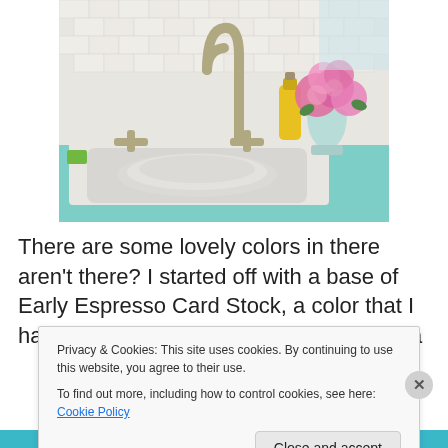[Figure (photo): Kitchen sink photo showing a white farmhouse sink with antique brass faucet, yellow dish soap bottle, and pink peonies in a light blue vase on a turquoise countertop with white subway tile backsplash]
There are some lovely colors in there aren't there? I started off with a base of Early Espresso Card Stock, a color that I haven't used in quite a while. Next up is a
Privacy & Cookies: This site uses cookies. By continuing to use this website, you agree to their use.
To find out more, including how to control cookies, see here: Cookie Policy
Close and accept